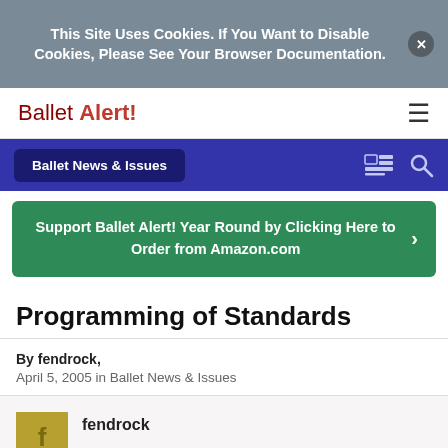This Site Uses Cookies. If You Want to Disable Cookies, Please See Your Browser Documentation.
Ballet Alert!
Ballet News & Issues
Support Ballet Alert! Year Round by Clicking Here to Order from Amazon.com
Programming of Standards
By fendrock,
April 5, 2005 in Ballet News & Issues
fendrock